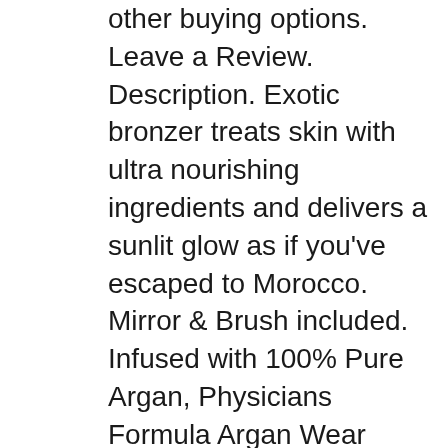other buying options. Leave a Review. Description. Exotic bronzer treats skin with ultra nourishing ingredients and delivers a sunlit glow as if you've escaped to Morocco. Mirror & Brush included. Infused with 100% Pure Argan, Physicians Formula Argan Wear Ultra-Nourishing Argan Oil Blush retail for around $12-$13 USD. Note: I'd seen a few reviews of these after I had already bought and used mine, and most of them said little about the scent. Maybe I'm sensitive to it? In any case, you might want to give the box a good sniff (I think you might be able to detect the.
11/06/2013 · There, the consumer can browse through the entire product